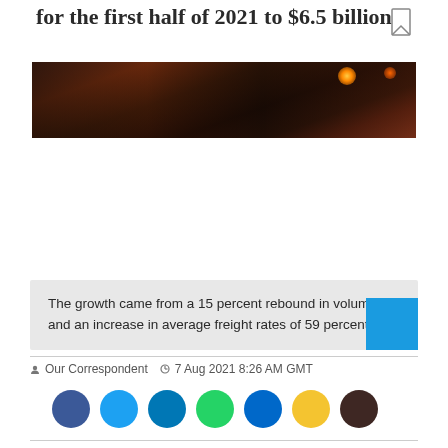for the first half of 2021 to $6.5 billion.
[Figure (photo): Dark industrial photo strip, likely of a port or freight facility with warm orange/red lighting]
The growth came from a 15 percent rebound in volumes and an increase in average freight rates of 59 percent.
Our Correspondent   7 Aug 2021 8:26 AM GMT
[Figure (other): Social share buttons row: Facebook, Twitter, LinkedIn, WhatsApp, Messenger, Google, Reddit]